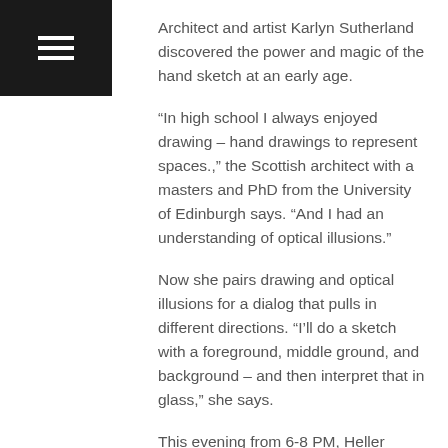Architect and artist Karlyn Sutherland discovered the power and magic of the hand sketch at an early age.
“In high school I always enjoyed drawing – hand drawings to represent spaces.,” the Scottish architect with a masters and PhD from the University of Edinburgh says. “And I had an understanding of optical illusions.”
Now she pairs drawing and optical illusions for a dialog that pulls in different directions. “I’ll do a sketch with a foreground, middle ground, and background – and then interpret that in glass,” she says.
This evening from 6-8 PM, Heller Gallery in New York will hold an opening reception with an exhibition of 10 of her works of art – some wall mounted and others as tables in three dimensions.
She focuses on a longstanding interest in the connection between memory and place, with a